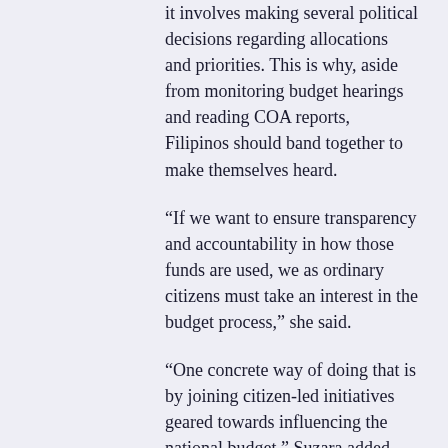it involves making several political decisions regarding allocations and priorities. This is why, aside from monitoring budget hearings and reading COA reports, Filipinos should band together to make themselves heard.
“If we want to ensure transparency and accountability in how those funds are used, we as ordinary citizens must take an interest in the budget process,” she said.
“One concrete way of doing that is by joining citizen-led initiatives geared towards influencing the national budget,” Suzara added.
She cited the People’s Budget Coalition, a network of civil society organizations convened by iLEAD in 2020 that seeks to lobby for “a more pandemic-responsive budget.”